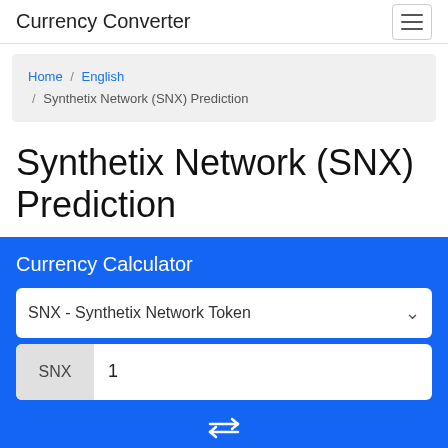Currency Converter
Home / English / Synthetix Network (SNX) Prediction
Synthetix Network (SNX) Prediction
Currency Calculator
SNX - Synthetix Network Token
SNX 1